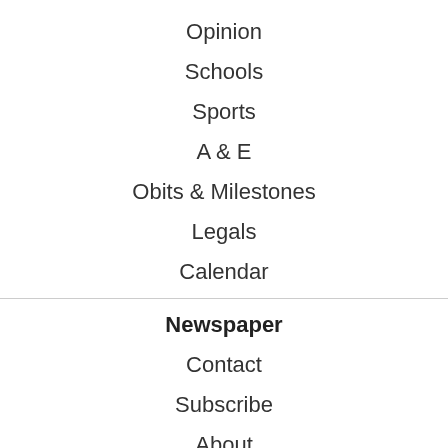News
Opinion
Schools
Sports
A & E
Obits & Milestones
Legals
Calendar
Newspaper
Contact
Subscribe
About
Website